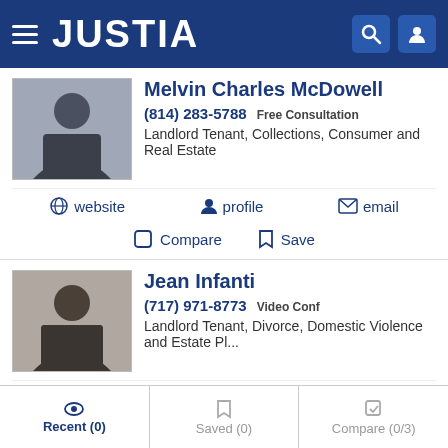JUSTIA
Melvin Charles McDowell
(814) 283-5788 Free Consultation
Landlord Tenant, Collections, Consumer and Real Estate
website  profile  email
Compare  Save
Jean Infanti
(717) 971-8773 Video Conf
Landlord Tenant, Divorce, Domestic Violence and Estate Pl...
website  profile  email
Recent (0)  Saved (0)  Compare (0/3)